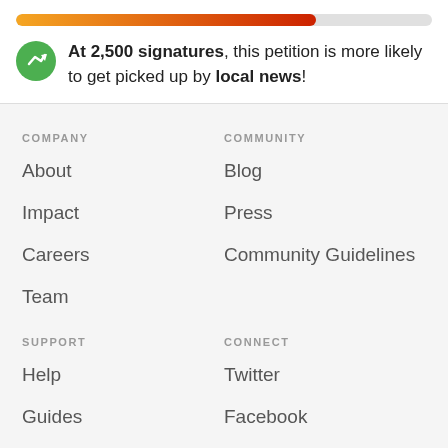[Figure (infographic): Progress bar showing petition milestone completion, approximately 72% filled with orange-to-red gradient on grey background]
At 2,500 signatures, this petition is more likely to get picked up by local news!
COMPANY
About
Impact
Careers
Team
COMMUNITY
Blog
Press
Community Guidelines
SUPPORT
Help
Guides
Privacy
CONNECT
Twitter
Facebook
Instagram